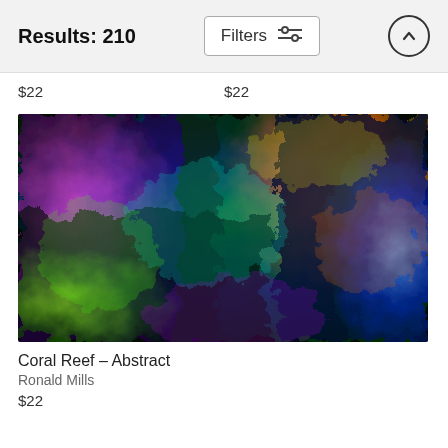Results: 210
$22
$22
[Figure (photo): Abstract colorful coral reef artwork with vivid swirling colors of blue, green, yellow, orange, pink, and purple.]
Coral Reef - Abstract
Ronald Mills
$22